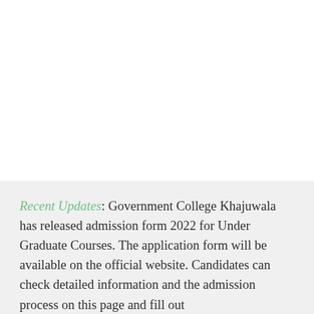Recent Updates: Government College Khajuwala has released admission form 2022 for Under Graduate Courses. The application form will be available on the official website. Candidates can check detailed information and the admission process on this page and fill out